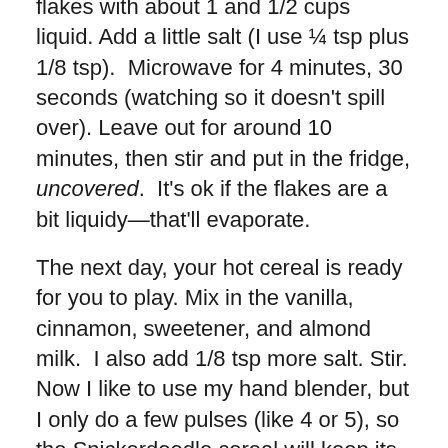flakes with about 1 and 1/2 cups liquid. Add a little salt (I use ¼ tsp plus 1/8 tsp). Microwave for 4 minutes, 30 seconds (watching so it doesn't spill over). Leave out for around 10 minutes, then stir and put in the fridge, uncovered. It's ok if the flakes are a bit liquidy—that'll evaporate.
The next day, your hot cereal is ready for you to play. Mix in the vanilla, cinnamon, sweetener, and almond milk. I also add 1/8 tsp more salt. Stir. Now I like to use my hand blender, but I only do a few pulses (like 4 or 5), so the Snickerdoodle cereal will keep its magical chewy texture. If you like your cereal to be hot, you can microwave it again at this time. I actually prefer the cereal cold. Especially after a run, the coolness is very refreshing.